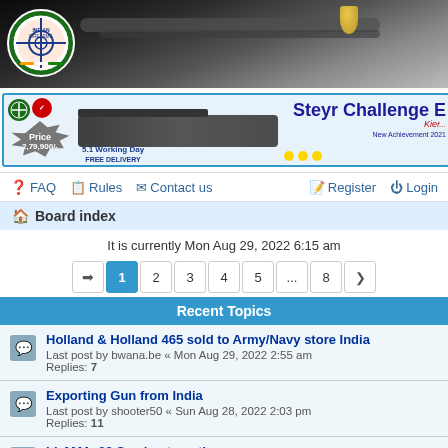[Figure (photo): Dark header banner with gun/rifle close-up photo and circular shooting federation logo on left]
[Figure (photo): Advertisement banner for Steyr Challenge E air rifle showing price 2,79,900/- and gun image]
FAQ  Rules  Contact us  Register  Login
Board index
It is currently Mon Aug 29, 2022 6:15 am
Pagination: 1 2 3 4 5 ... 8
Recent Topics
Holland & Holland 465 sold to Army/Navy store India
Last post by bwana.be « Mon Aug 29, 2022 2:55 am
Replies: 7
Exporting Gun from India
Last post by shooter50 « Sun Aug 28, 2022 2:03 pm
Replies: 11
LLAMA .32 Semi-automatic